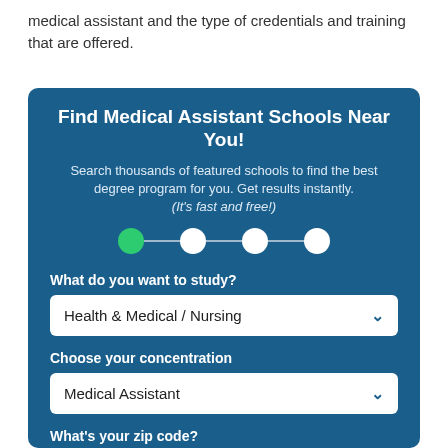medical assistant and the type of credentials and training that are offered.
[Figure (infographic): Blue box widget: Find Medical Assistant Schools Near You! with subtitle text, step indicator circles, and dropdown form fields for study area, concentration, and zip code.]
Find Medical Assistant Schools Near You!
Search thousands of featured schools to find the best degree program for you. Get results instantly. (It’s fast and free!)
What do you want to study?
Health & Medical / Nursing
Choose your concentration
Medical Assistant
What’s your zip code?